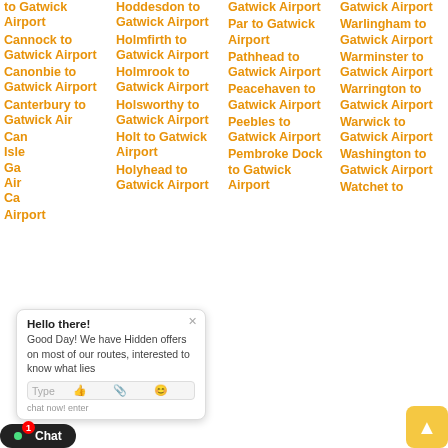to Gatwick Airport
Cannock to Gatwick Airport
Canonbie to Gatwick Airport
Canterbury to Gatwick Airport
Canvey Island to Gatwick Airport
Carbis Bay to Gatwick Airport
Hoddesdon to Gatwick Airport
Holmfirth to Gatwick Airport
Holmrook to Gatwick Airport
Holsworthy to Gatwick Airport
Holt to Gatwick Airport
Holyhead to Gatwick Airport
Gatwick Airport
Par to Gatwick Airport
Pathhead to Gatwick Airport
Peacehaven to Gatwick Airport
Peebles to Gatwick Airport
Pembroke Dock to Gatwick Airport
Gatwick Airport
Warlingham to Gatwick Airport
Warminster to Gatwick Airport
Warrington to Gatwick Airport
Warwick to Gatwick Airport
Washington to Gatwick Airport
Watchet to